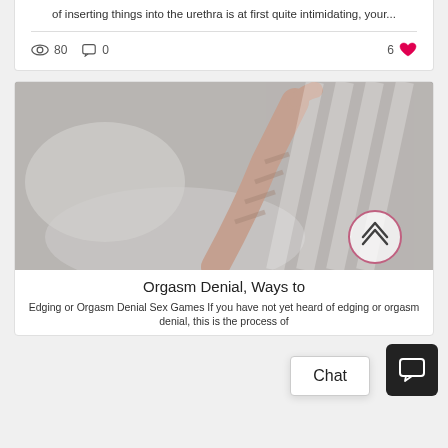of inserting things into the urethra is at first quite intimidating, your...
80 views · 0 comments · 6 likes
[Figure (photo): Person lying in bed with arm raised, grey bedding, window light with stripe shadows]
Orgasm Denial, Ways to
Edging or Orgasm Denial Sex Games If you have not yet heard of edging or orgasm denial, this is the process of